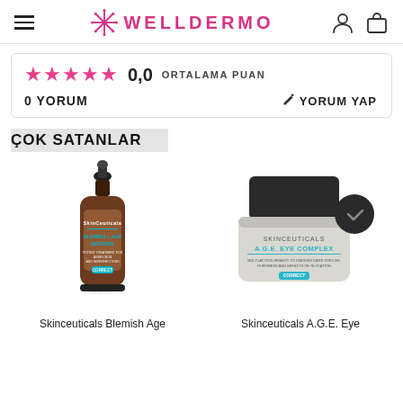WELLDERMO
★★★★★  0,0 ORTALAMA PUAN
0 YORUM   ✎ YORUM YAP
ÇOK SATANLAR
[Figure (photo): SkinCeuticals Blemish + Age Defense serum bottle with dropper]
[Figure (photo): SkinCeuticals A.G.E. Eye Complex cream jar with dark lid]
Skinceuticals Blemish Age
Skinceuticals A.G.E. Eye